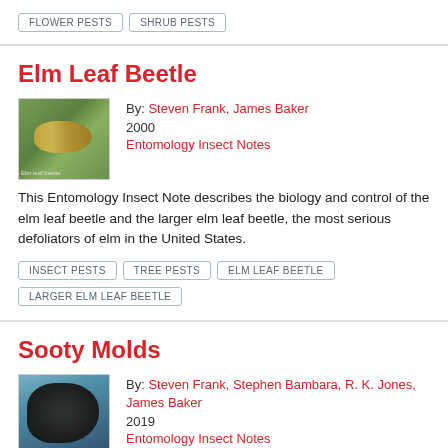FLOWER PESTS
SHRUB PESTS
Elm Leaf Beetle
By: Steven Frank, James Baker
2000
Entomology Insect Notes
[Figure (photo): Close-up photo of an elm leaf beetle on a green leaf background]
This Entomology Insect Note describes the biology and control of the elm leaf beetle and the larger elm leaf beetle, the most serious defoliators of elm in the United States.
INSECT PESTS
TREE PESTS
ELM LEAF BEETLE
LARGER ELM LEAF BEETLE
Sooty Molds
By: Steven Frank, Stephen Bambara, R. K. Jones, James Baker
2019
Entomology Insect Notes
[Figure (photo): Photo of sooty mold on a plant with dark coating visible]